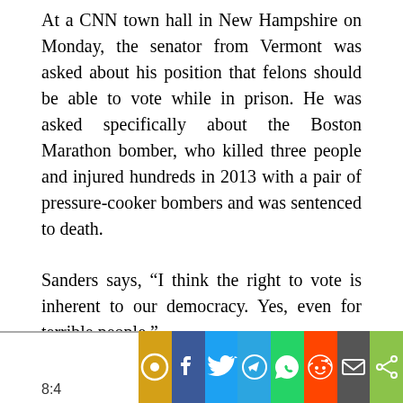At a CNN town hall in New Hampshire on Monday, the senator from Vermont was asked about his position that felons should be able to vote while in prison. He was asked specifically about the Boston Marathon bomber, who killed three people and injured hundreds in 2013 with a pair of pressure-cooker bombers and was sentenced to death.
Sanders says, “I think the right to vote is inherent to our democracy. Yes, even for terrible people.”
He says, “Because once you start chipping away, you say, well that guy committed a terrible crime, not going to let him vote. Well that person did that, not going to let that person vote, you’re running down a slippery slope.”
[Figure (infographic): Social sharing bar with icons for various platforms: gold/orange circle icon, Facebook, Twitter, Telegram, WhatsApp, Reddit, Email, and a generic share icon. Timestamp '8:4' visible at bottom left.]